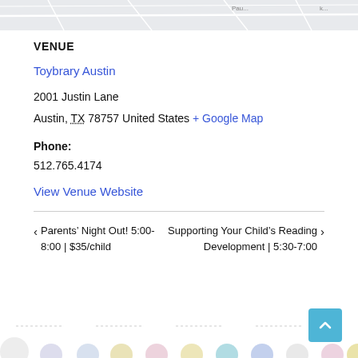[Figure (map): Partial map strip at the top of the page showing street map with labels like 'Pau...', 'k...', 'Du...']
VENUE
Toybrary Austin
2001 Justin Lane
Austin, TX 78757 United States + Google Map
Phone:
512.765.4174
View Venue Website
< Parents' Night Out! 5:00-8:00 | $35/child
Supporting Your Child's Reading Development | 5:30-7:00 >